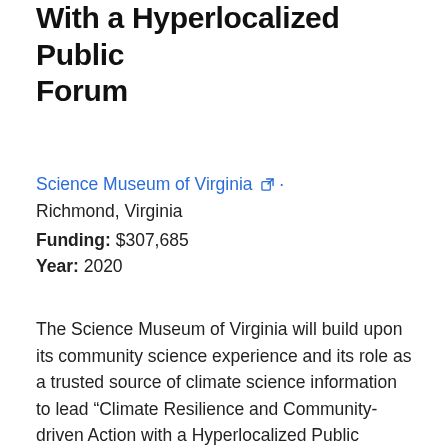With a Hyperlocalized Public Forum
Science Museum of Virginia · Richmond, Virginia
Funding: $307,685
Year: 2020
The Science Museum of Virginia will build upon its community science experience and its role as a trusted source of climate science information to lead “Climate Resilience and Community-driven Action with a Hyperlocalized Public Forum in Richmond, VA” in partnership with Virginia Community